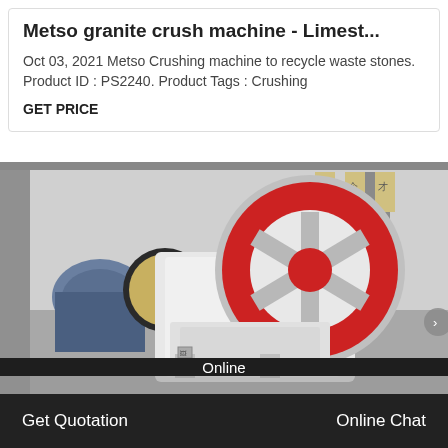Metso granite crush machine - Limest...
Oct 03, 2021 Metso Crushing machine to recycle waste stones. Product ID : PS2240. Product Tags : Crushing
GET PRICE
[Figure (photo): Metso jaw crusher machine in an industrial factory setting. Large white and red industrial jaw crusher in foreground with flywheel visible. Other machinery in background with Chinese signage on banners.]
Online
Get Quotation
Online Chat